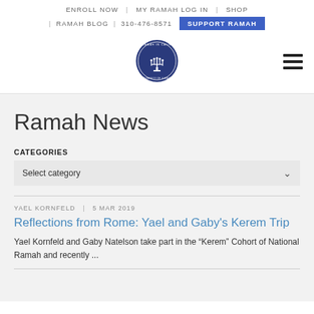ENROLL NOW | MY RAMAH LOG IN | SHOP | RAMAH BLOG | 310-476-8571 SUPPORT RAMAH
[Figure (logo): Camp Ramah in California circular logo with menorah]
Ramah News
CATEGORIES
Select category
YAEL KORNFELD | 5 MAR 2019
Reflections from Rome: Yael and Gaby's Kerem Trip
Yael Kornfeld and Gaby Natelson take part in the "Kerem" Cohort of National Ramah and recently ...